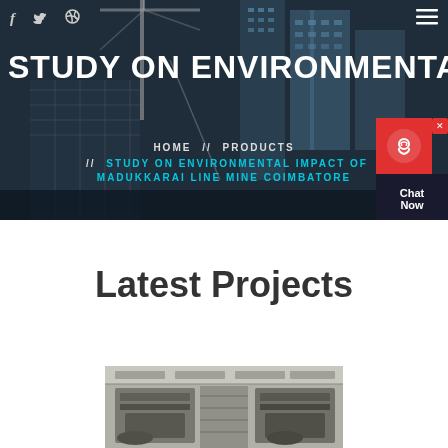f  🐦  🏀  ≡
STUDY ON ENVIRONMENTAL IM
HOME // PRODUCTS // STUDY ON ENVIRONMENTAL IMPACT OF MADUKKARAI LINE MINE COIMBATORE
Latest Projects
[Figure (photo): Construction machinery / industrial equipment photo]